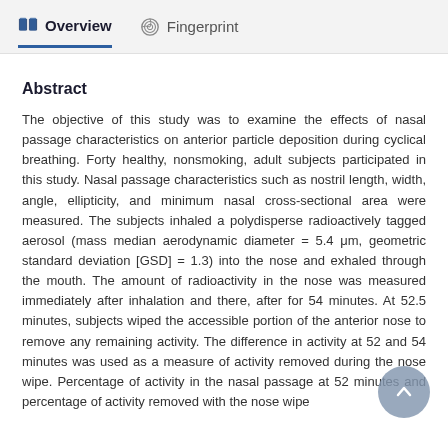Overview  Fingerprint
Abstract
The objective of this study was to examine the effects of nasal passage characteristics on anterior particle deposition during cyclical breathing. Forty healthy, nonsmoking, adult subjects participated in this study. Nasal passage characteristics such as nostril length, width, angle, ellipticity, and minimum nasal cross-sectional area were measured. The subjects inhaled a polydisperse radioactively tagged aerosol (mass median aerodynamic diameter = 5.4 μm, geometric standard deviation [GSD] = 1.3) into the nose and exhaled through the mouth. The amount of radioactivity in the nose was measured immediately after inhalation and there, after for 54 minutes. At 52.5 minutes, subjects wiped the accessible portion of the anterior nose to remove any remaining activity. The difference in activity at 52 and 54 minutes was used as a measure of activity removed during the nose wipe. Percentage of activity in the nasal passage at 52 minutes and percentage of activity removed with the nose wipe